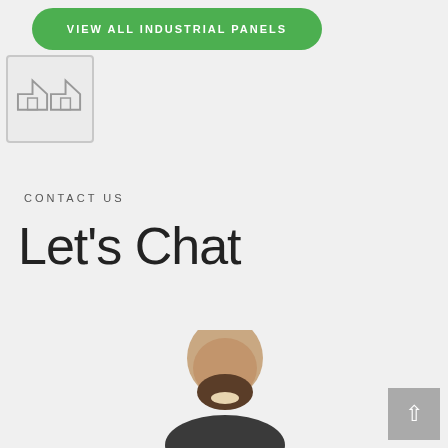VIEW ALL INDUSTRIAL PANELS
[Figure (illustration): Small icon placeholder with house/building icons in a light gray bordered box]
CONTACT US
Let's Chat
[Figure (photo): Photo of a bald man with a beard, smiling, cropped from shoulders up, appearing at the bottom of the page]
Back to top arrow button